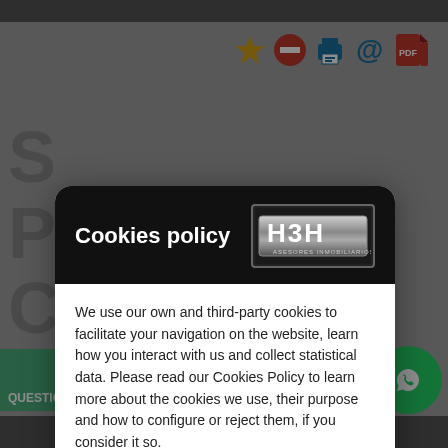[Figure (screenshot): Website background showing toolbar with star, minus, printer, at-sign, and PDF icons in color, plus partial text letters S, P, C on left side, and bottom action bar with QUESTION?, Reduced Price 459.000€ button, and WhatsApp icon]
Cookies policy
We use our own and third-party cookies to facilitate your navigation on the website, learn how you interact with us and collect statistical data. Please read our Cookies Policy to learn more about the cookies we use, their purpose and how to configure or reject them, if you consider it so.
Manage Cookies
Accept all